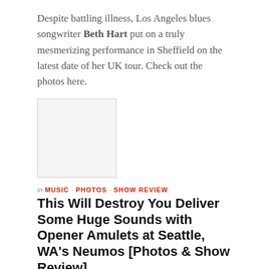Despite battling illness, Los Angeles blues songwriter Beth Hart put on a truly mesmerizing performance in Sheffield on the latest date of her UK tour. Check out the photos here.
[Figure (other): Placeholder image box, light gray with border]
in MUSIC · PHOTOS · SHOW REVIEW
This Will Destroy You Deliver Some Huge Sounds with Opener Amulets at Seattle, WA's Neumos [Photos & Show Review]
BY NATHAN KATSIAFICAS - 02/22/2020 - 2 MINS READ
We caught Texas post-rock instrumentalists This Will Destroy You in Seattle, WA with opener Amulets at